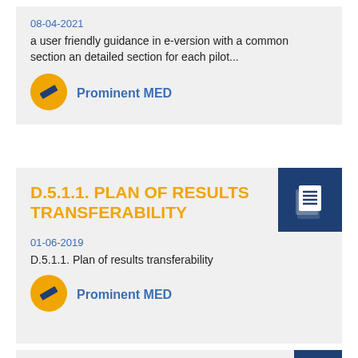08-04-2021
a user friendly guidance in e-version with a common section an detailed section for each pilot...
[Figure (logo): Prominent MED logo: yellow circle with blue diamond/arrow shape]
Prominent MED
D.5.1.1. PLAN OF RESULTS TRANSFERABILITY
[Figure (other): Dark blue square icon with white document/pages stacked symbol]
01-06-2019
D.5.1.1. Plan of results transferability
[Figure (logo): Prominent MED logo: yellow circle with blue diamond/arrow shape]
Prominent MED
[Figure (other): Dark blue square icon partially visible at bottom]